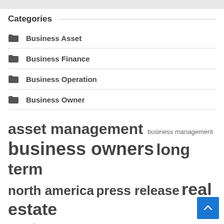Categories
Business Asset
Business Finance
Business Operation
Business Owner
asset management  business management  business owners  long term  north america  press release  real estate  reuters  trust  small businesses  standards  thomson  supply chain